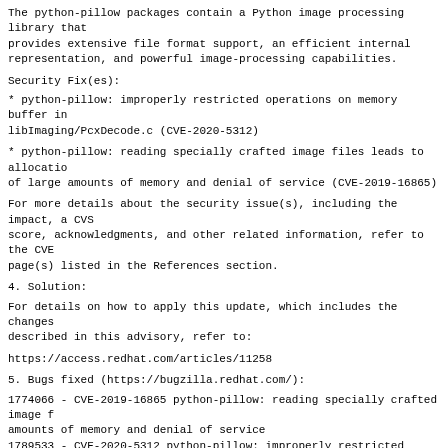The python-pillow packages contain a Python image processing library that
provides extensive file format support, an efficient internal
representation, and powerful image-processing capabilities.
Security Fix(es):
* python-pillow: improperly restricted operations on memory buffer in
libImaging/PcxDecode.c (CVE-2020-5312)
* python-pillow: reading specially crafted image files leads to allocation
of large amounts of memory and denial of service (CVE-2019-16865)
For more details about the security issue(s), including the impact, a CVS
score, acknowledgments, and other related information, refer to the CVE
page(s) listed in the References section.
4. Solution:
For details on how to apply this update, which includes the changes
described in this advisory, refer to:
https://access.redhat.com/articles/11258
5. Bugs fixed (https://bugzilla.redhat.com/):
1774066 - CVE-2019-16865 python-pillow: reading specially crafted image f
amounts of memory and denial of service
1789533 - CVE-2020-5312 python-pillow: improperly restricted operations o
libImaging/PcxDecode.c
6. Package List:
Red Hat Enterprise Linux Client (v. 7):
Source:
python-pillow-2.0.0-20.gitd1c6db8.el7_7.src.rpm
x86_64:
python-pillow-2.0.0-20.gitd1c6db8.el7_7.x86_64.rpm
python-pillow-debuginfo-2.0.0-20.gitd1c6db8.el7_7.x86_64.rpm